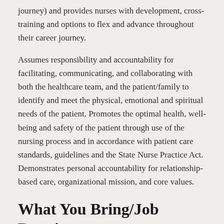journey) and provides nurses with development, cross-training and options to flex and advance throughout their career journey.
Assumes responsibility and accountability for facilitating, communicating, and collaborating with both the healthcare team, and the patient/family to identify and meet the physical, emotional and spiritual needs of the patient. Promotes the optimal health, well-being and safety of the patient through use of the nursing process and in accordance with patient care standards, guidelines and the State Nurse Practice Act. Demonstrates personal accountability for relationship-based care, organizational mission, and core values.
What You Bring/Job Requirements
In addition to bringing your whole self to the workplace each day, qualified candidates will need the following: